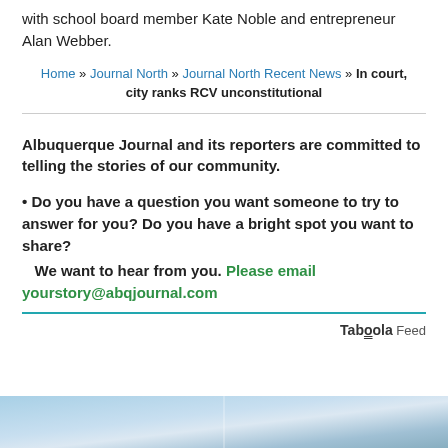with school board member Kate Noble and entrepreneur Alan Webber.
Home » Journal North » Journal North Recent News » In court, city ranks RCV unconstitutional
Albuquerque Journal and its reporters are committed to telling the stories of our community.
• Do you have a question you want someone to try to answer for you? Do you have a bright spot you want to share?
   We want to hear from you. Please email yourstory@abqjournal.com
Taboola Feed